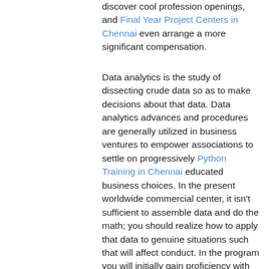discover cool profession openings, and Final Year Project Centers in Chennai even arrange a more significant compensation.
Data analytics is the study of dissecting crude data so as to make decisions about that data. Data analytics advances and procedures are generally utilized in business ventures to empower associations to settle on progressively Python Training in Chennai educated business choices. In the present worldwide commercial center, it isn't sufficient to assemble data and do the math; you should realize how to apply that data to genuine situations such that will affect conduct. In the program you will initially gain proficiency with the specialized skills, including R and Python dialects most usually utilized in data analytics programming and usage; Python Training in Chennai at